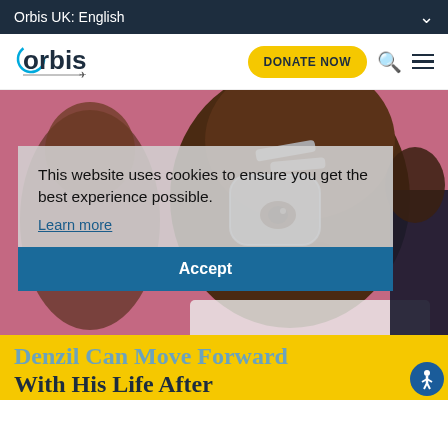Orbis UK: English
[Figure (logo): Orbis logo with blue arc and airplane icon]
DONATE NOW
[Figure (photo): Close-up of an elderly man with a medical eye shield/protector on his eye, a pink background, another person visible behind him]
This website uses cookies to ensure you get the best experience possible.
Learn more
Accept
Denzil Can Move Forward With His Life After